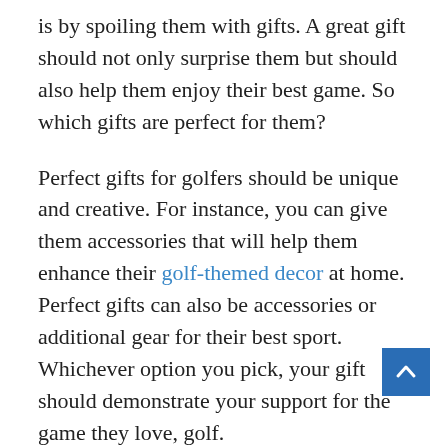is by spoiling them with gifts. A great gift should not only surprise them but should also help them enjoy their best game. So which gifts are perfect for them?
Perfect gifts for golfers should be unique and creative. For instance, you can give them accessories that will help them enhance their golf-themed decor at home. Perfect gifts can also be accessories or additional gear for their best sport. Whichever option you pick, your gift should demonstrate your support for the game they love, golf.
In this article, we share five suggestions of th you can use to spoil the golf enthusiast in your